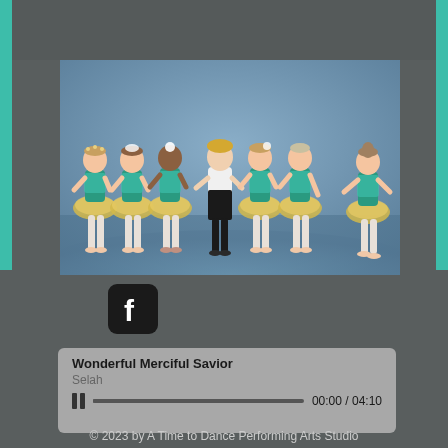[Figure (photo): Group of seven young children at a dance studio. Six girls wearing teal/green sequin tops with yellow tutu skirts and one boy in white top and black pants, posed together for a recital photo against a blue studio backdrop.]
[Figure (logo): Facebook icon — rounded square black background with white lowercase 'f' lettermark]
Wonderful Merciful Savior
Selah
00:00 / 04:10
© 2023 by A Time to Dance Performing Arts Studio